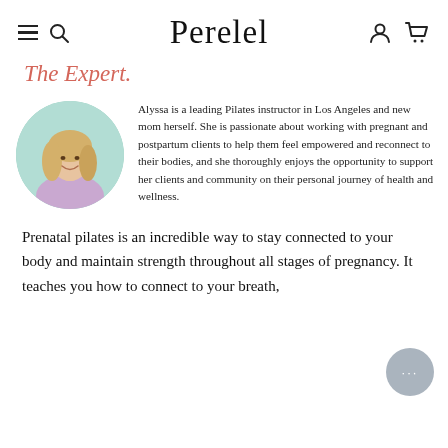Perelel
The Expert.
[Figure (photo): Circular headshot of a smiling blonde woman in a lavender tank top, with a mint/teal background]
Alyssa is a leading Pilates instructor in Los Angeles and new mom herself. She is passionate about working with pregnant and postpartum clients to help them feel empowered and reconnect to their bodies, and she thoroughly enjoys the opportunity to support her clients and community on their personal journey of health and wellness.
Prenatal pilates is an incredible way to stay connected to your body and maintain strength throughout all stages of pregnancy. It teaches you how to connect to your breath,